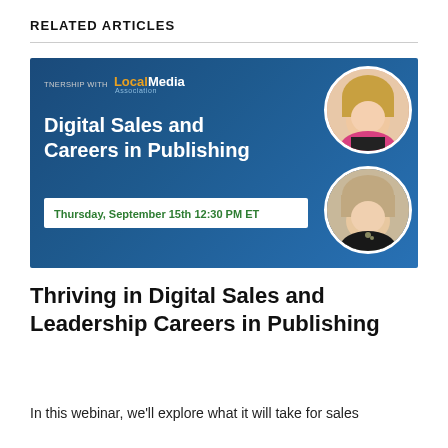RELATED ARTICLES
[Figure (photo): Webinar promotional banner with dark blue background. Shows 'LocalMedia Association' logo, title 'Digital Sales and Careers in Publishing', date 'Thursday, September 15th 12:30 PM ET', and two circular portrait photos of women on the right side.]
Thriving in Digital Sales and Leadership Careers in Publishing
In this webinar, we'll explore what it will take for sales